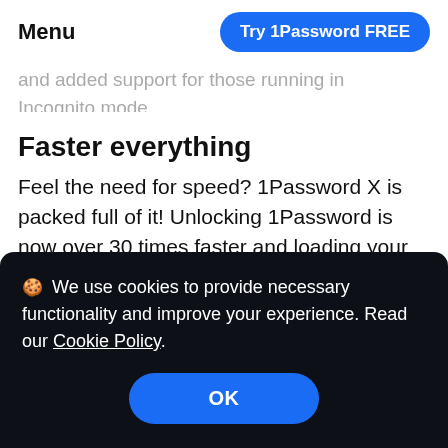Menu   Try 1Password FREE
and added support for those running in Incognito mode.
Faster everything
Feel the need for speed? 1Password X is packed full of it! Unlocking 1Password is now over 30 times faster and loading your items is instantaneous.
🍪 We use cookies to provide necessary functionality and improve your experience. Read our Cookie Policy.
OK